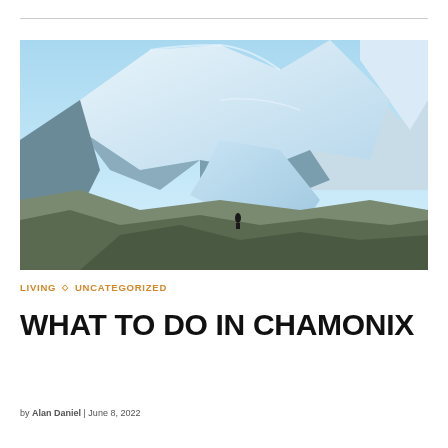[Figure (photo): Snow-capped mountain peaks (Mont Blanc massif) with glaciers under a clear blue sky; a lone hiker visible in the foreground on rocky terrain]
LIVING  ◇  UNCATEGORIZED
WHAT TO DO IN CHAMONIX
by Alan Daniel | June 8, 2022